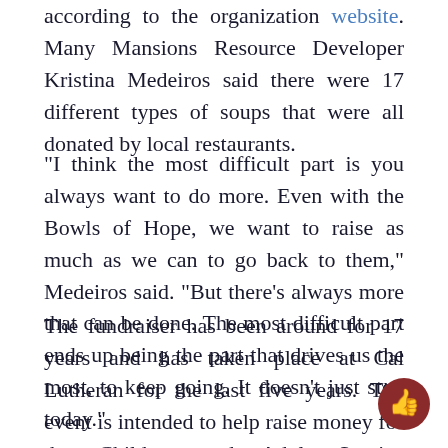according to the organization website. Many Mansions Resource Developer Kristina Medeiros said there were 17 different types of soups that were all donated by local restaurants.
“I think the most difficult part is you always want to do more. Even with the Bowls of Hope, we want to raise as much as we can to go back to them,” Medeiros said. “But there’s always more that can be done. The most difficult part ends up being the part that drives us the most, to keep going. It doesn’t just stop today.”
The fundraiser has been around for 17 years and has taken place at Cal Lutheran for the last five years. The event is intended to help raise money for the Children and Adult Service programs offered through Many Mansions.